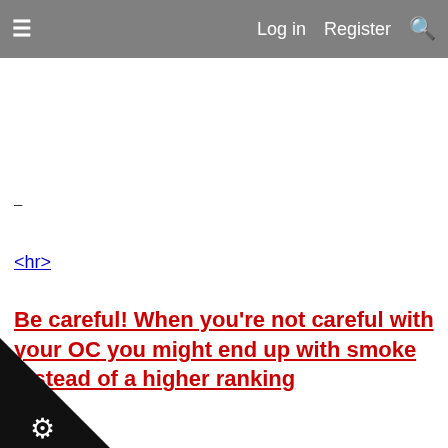≡   Log in   Register  🔍
–
<hr>
Be careful! When you're not careful with your OC you might end up with smoke instead of a higher ranking
[Figure (logo): Black triangle corner badge with a gear/cog icon in white]